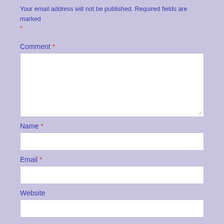Your email address will not be published. Required fields are marked *
Comment *
[Figure (screenshot): Empty comment textarea input field]
Name *
[Figure (screenshot): Empty name text input field]
Email *
[Figure (screenshot): Empty email text input field]
Website
[Figure (screenshot): Empty website text input field (partially visible)]